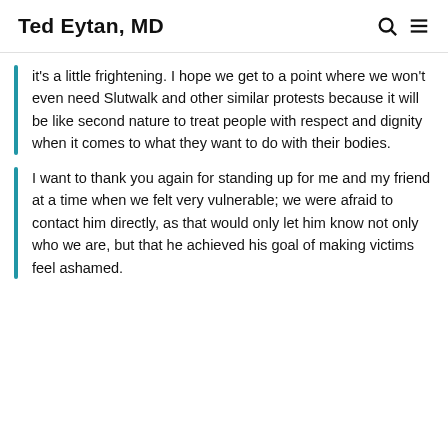Ted Eytan, MD
it's a little frightening. I hope we get to a point where we won't even need Slutwalk and other similar protests because it will be like second nature to treat people with respect and dignity when it comes to what they want to do with their bodies.
I want to thank you again for standing up for me and my friend at a time when we felt very vulnerable; we were afraid to contact him directly, as that would only let him know not only who we are, but that he achieved his goal of making victims feel ashamed.